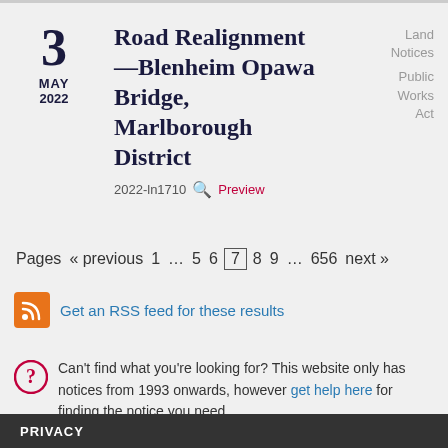3 MAY 2022 — Road Realignment—Blenheim Opawa Bridge, Marlborough District — 2022-ln1710 — Land Notices / Public Works Act
Pages « previous 1 … 5 6 7 8 9 … 656 next »
Get an RSS feed for these results
Can't find what you're looking for? This website only has notices from 1993 onwards, however get help here for finding the notice you need.
PRIVACY